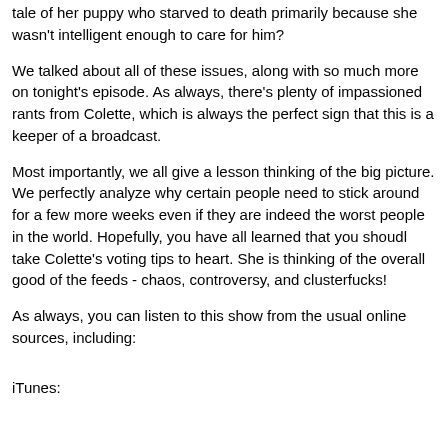tale of her puppy who starved to death primarily because she wasn't intelligent enough to care for him?
We talked about all of these issues, along with so much more on tonight's episode. As always, there's plenty of impassioned rants from Colette, which is always the perfect sign that this is a keeper of a broadcast.
Most importantly, we all give a lesson thinking of the big picture. We perfectly analyze why certain people need to stick around for a few more weeks even if they are indeed the worst people in the world. Hopefully, you have all learned that you shoudl take Colette's voting tips to heart. She is thinking of the overall good of the feeds - chaos, controversy, and clusterfucks!
As always, you can listen to this show from the usual online sources, including:
iTunes: